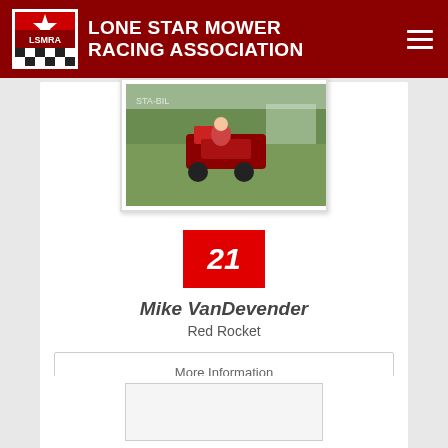LONE STAR MOWER RACING ASSOCIATION
[Figure (photo): Racing lawn mower on grass track at a racing event]
21
Mike VanDevender
Red Rocket
More Information
[Figure (photo): Partial view of second racer card at bottom of page]